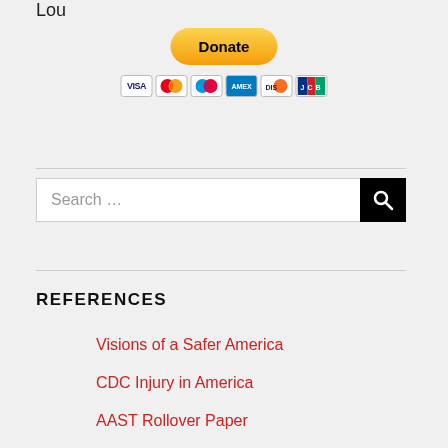Lou
[Figure (other): PayPal Donate button with credit card icons (Visa, Mastercard, Maestro, Amex, Discover, JCB)]
REFERENCES
Visions of a Safer America
CDC Injury in America
AAST Rollover Paper
Occult Injury Database and Studies